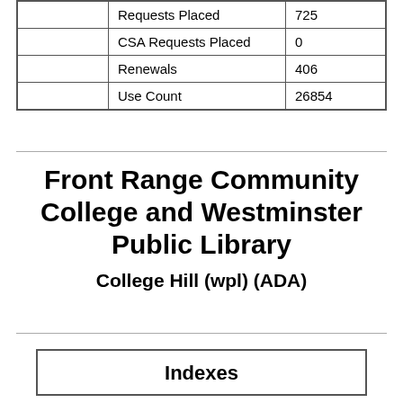|  | Requests Placed | 725 |
|  | CSA Requests Placed | 0 |
|  | Renewals | 406 |
|  | Use Count | 26854 |
Front Range Community College and Westminster Public Library
College Hill (wpl) (ADA)
| Indexes |
| --- |